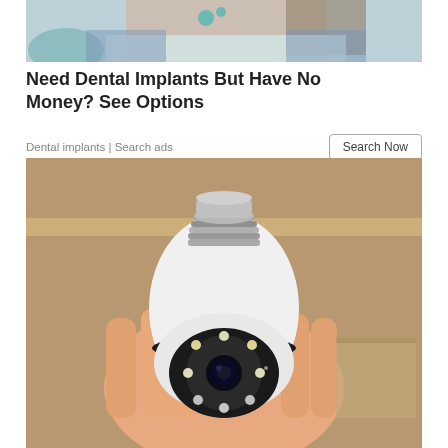[Figure (photo): Woman in dental chair with teal accessories, cropped to show neck and shoulders]
Need Dental Implants But Have No Money? See Options
Dental implants | Search ads
[Figure (photo): Hand holding a light bulb security camera — white PTZ camera shaped like a light bulb with LED ring and screw base]